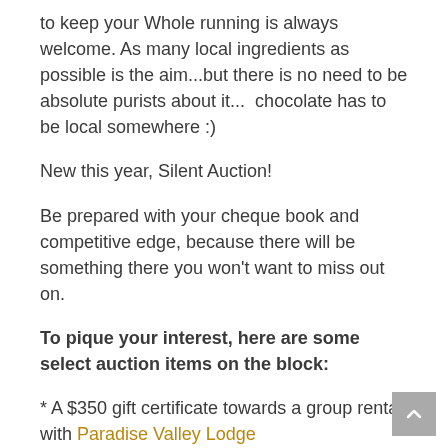to keep your Whole running is always welcome. As many local ingredients as possible is the aim...but there is no need to be absolute purists about it...  chocolate has to be local somewhere :)
New this year, Silent Auction!
Be prepared with your cheque book and competitive edge, because there will be something there you won't want to miss out on.
To pique your interest, here are some select auction items on the block:
* A $350 gift certificate towards a group rental with Paradise Valley Lodge
* Artwork from some of your favourite local artists like;  Rab'ia Gonzalez , water-colourist Susan Harder,